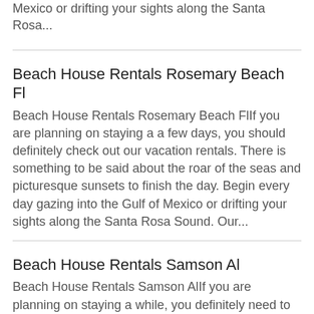Mexico or drifting your sights along the Santa Rosa...
Beach House Rentals Rosemary Beach Fl
Beach House Rentals Rosemary Beach FlIf you are planning on staying a a few days, you should definitely check out our vacation rentals. There is something to be said about the roar of the seas and picturesque sunsets to finish the day. Begin every day gazing into the Gulf of Mexico or drifting your sights along the Santa Rosa Sound. Our...
Beach House Rentals Samson Al
Beach House Rentals Samson AlIf you are planning on staying a while, you definitely need to check out our amazing vacation rentals.